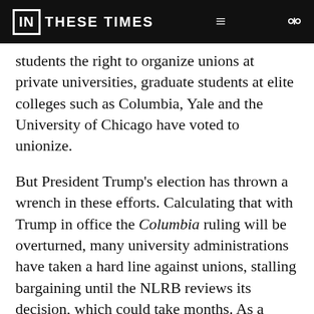IN THESE TIMES
students the right to organize unions at private universities, graduate students at elite colleges such as Columbia, Yale and the University of Chicago have voted to unionize.
But President Trump's election has thrown a wrench in these efforts. Calculating that with Trump in office the Columbia ruling will be overturned, many university administrations have taken a hard line against unions, stalling bargaining until the NLRB reviews its decision, which could take months. As a result, some graduate students, including the Graduate Students United at the University of Chicago, have withdrawn from the NLRB certification process and are pushing to have...